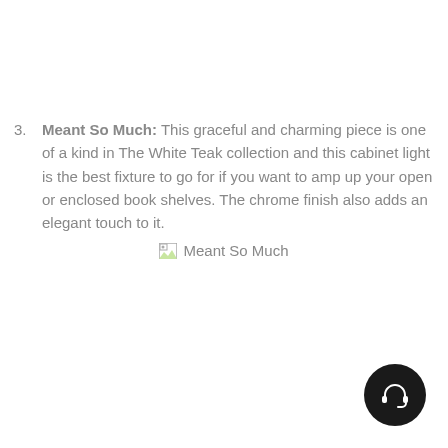3. Meant So Much: This graceful and charming piece is one of a kind in The White Teak collection and this cabinet light is the best fixture to go for if you want to amp up your open or enclosed book shelves. The chrome finish also adds an elegant touch to it.
[Figure (illustration): Broken image placeholder with alt text 'Meant So Much']